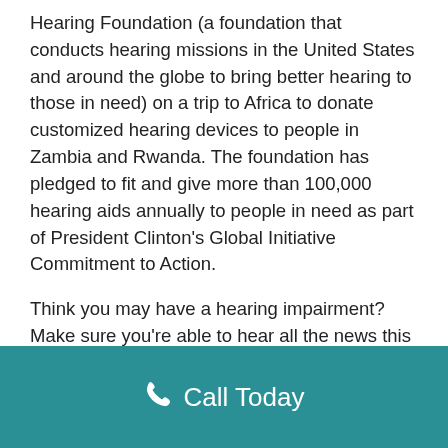Hearing Foundation (a foundation that conducts hearing missions in the United States and around the globe to bring better hearing to those in need) on a trip to Africa to donate customized hearing devices to people in Zambia and Rwanda. The foundation has pledged to fit and give more than 100,000 hearing aids annually to people in need as part of President Clinton's Global Initiative Commitment to Action.
Think you may have a hearing impairment? Make sure you're able to hear all the news this election season by visiting us!
Call Today